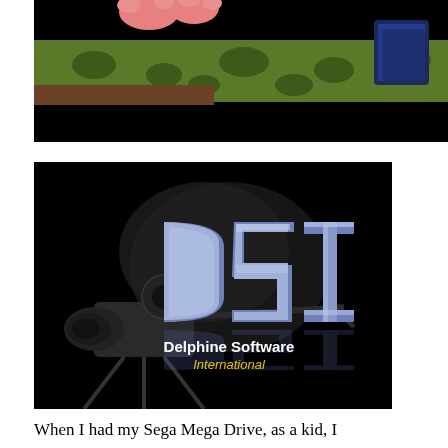[Figure (screenshot): Top portion of a game screenshot showing colorful animated scene with pink character hands, green ground with spots, and a dark blue box, against a black background at the bottom.]
[Figure (screenshot): Delphine Software International logo on black background. Large silver/chrome 3D letters 'DSI' with a vintage film camera silhouette. Below the letters: 'Delphine Software' in white bold, 'International' in yellow italic text.]
When I had my Sega Mega Drive, as a kid, I